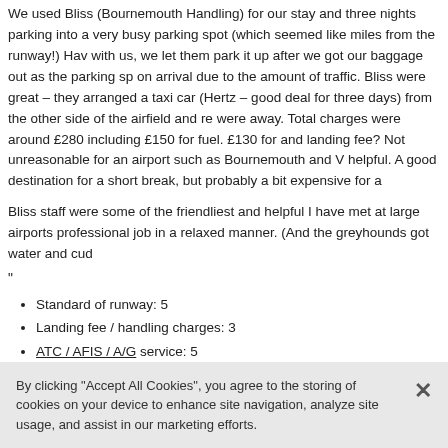We used Bliss (Bournemouth Handling) for our stay and three nights parking... into a very busy parking spot (which seemed like miles from the runway!) Hav... with us, we let them park it up after we got our baggage out as the parking sp... on arrival due to the amount of traffic. Bliss were great – they arranged a taxi... car (Hertz – good deal for three days) from the other side of the airfield and re... were away. Total charges were around £280 including £150 for fuel. £130 fo... and landing fee? Not unreasonable for an airport such as Bournemouth and V... helpful. A good destination for a short break, but probably a bit expensive for a...
Bliss staff were some of the friendliest and helpful I have met at large airports... professional job in a relaxed manner. (And the greyhounds got water and cud...
"
Standard of runway: 5
Landing fee / handling charges: 3
ATC / AFIS / A/G service: 5
Friendliness of welcome: 5
Login to say you like this
9 May 16 - Neal Cavalier-Smith - Shoreham
By clicking "Accept All Cookies", you agree to the storing of cookies on your device to enhance site navigation, analyze site usage, and assist in our marketing efforts.